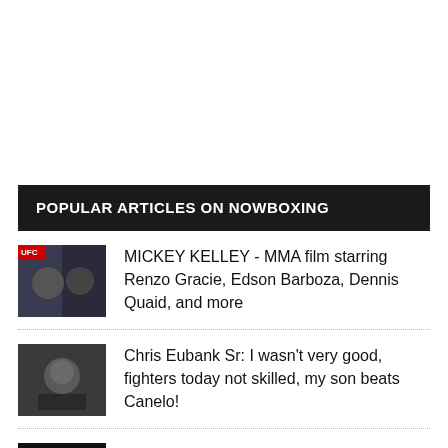POPULAR ARTICLES ON NOWBOXING
MICKEY KELLEY - MMA film starring Renzo Gracie, Edson Barboza, Dennis Quaid, and more
Chris Eubank Sr: I wasn't very good, fighters today not skilled, my son beats Canelo!
Chris Eubank Snr. gives a phone Q&A